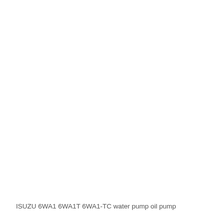ISUZU 6WA1 6WA1T 6WA1-TC water pump oil pump